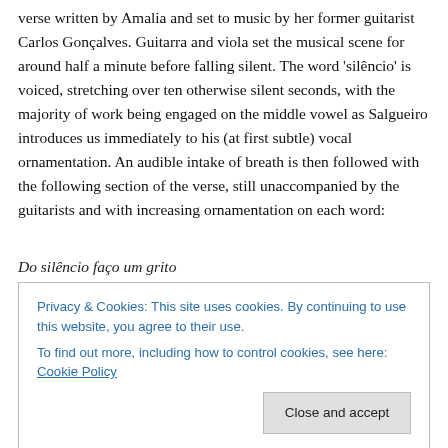verse written by Amalia and set to music by her former guitarist Carlos Gonçalves. Guitarra and viola set the musical scene for around half a minute before falling silent. The word 'silêncio' is voiced, stretching over ten otherwise silent seconds, with the majority of work being engaged on the middle vowel as Salgueiro introduces us immediately to his (at first subtle) vocal ornamentation. An audible intake of breath is then followed with the following section of the verse, still unaccompanied by the guitarists and with increasing ornamentation on each word:
Do silêncio faço um grito
Privacy & Cookies: This site uses cookies. By continuing to use this website, you agree to their use.
To find out more, including how to control cookies, see here: Cookie Policy